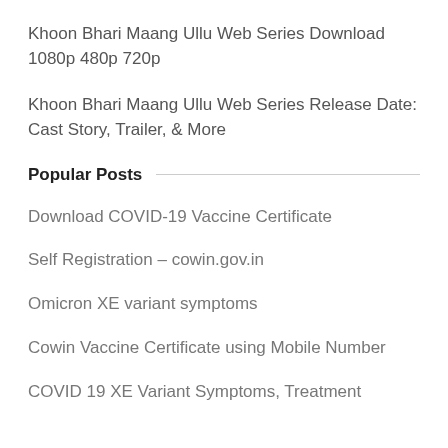Khoon Bhari Maang Ullu Web Series Download 1080p 480p 720p
Khoon Bhari Maang Ullu Web Series Release Date: Cast Story, Trailer, & More
Popular Posts
Download COVID-19 Vaccine Certificate
Self Registration – cowin.gov.in
Omicron XE variant symptoms
Cowin Vaccine Certificate using Mobile Number
COVID 19 XE Variant Symptoms, Treatment